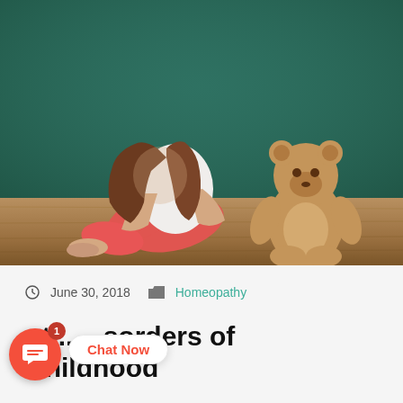[Figure (photo): A young girl with long brown hair sits on a wooden floor with her back to a dark teal/green wall, hugging her knees with her face hidden. She wears a white top and red/coral pants and is barefoot. Beside her sits a tan teddy bear.]
June 30, 2018   Homeopathy
...nt... ...sorders of Childhood